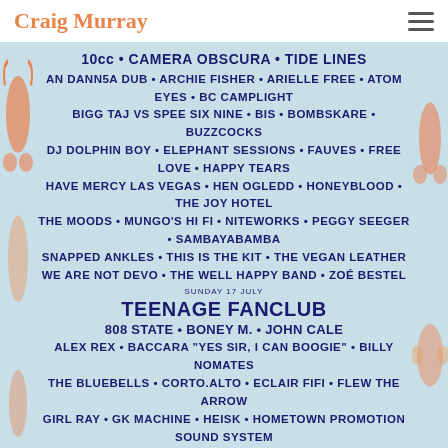Craig Murray
[Figure (infographic): Festival lineup banner for 'Doune The Rabbithole'. Features performers across two days. Top acts include 10cc, Camera Obscura, Tide Lines (Saturday), and Teenage Fanclub, 808 State, Boney M., John Cale (Sunday 17 July). Lists many more acts, mentions Guest Presenter Vic Galloway, Lineup Tiers A-Z, Tickets On Sale Now, and website dounetherabbithole.co.uk. Badges say 'And Many More Across 6 Stages'.]
Books by Craig Murray
[Figure (photo): Book cover for 'Sikunder Burnes' by Craig Murray, showing a portrait of a man in military uniform against a dark ornate background.]